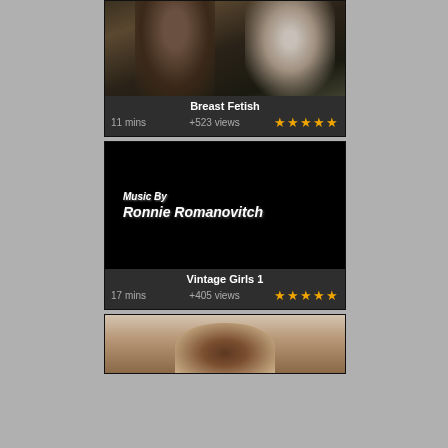[Figure (photo): Video thumbnail showing two people, partially cropped at top]
Breast Fetish
11 mins   +523 views   ★★★★★
[Figure (photo): Black video thumbnail with text: Music By Ronnie Romanovitch]
Vintage Girls 1
17 mins   +405 views   ★★★★★
[Figure (photo): Video thumbnail showing top of a person's head, partially cropped]